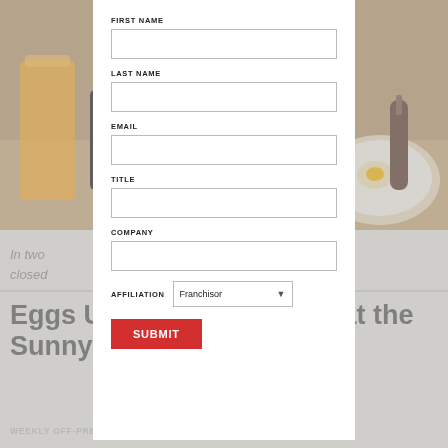[Figure (photo): Background photo of breakfast food scene with orange juice, Eggs Up Grill branded cup, and a person eating eggs on a plate]
In two ... s never closed...
Eggs Up Grill CEO Looks at the Sunny Side
WEEKLY OFF-PREMISES HAS MIXED SEVEN
[Figure (screenshot): A web form modal overlay with fields: First Name, Last Name, Email, Title, Company, Affiliation (dropdown showing Franchisor), and a red SUBMIT button]